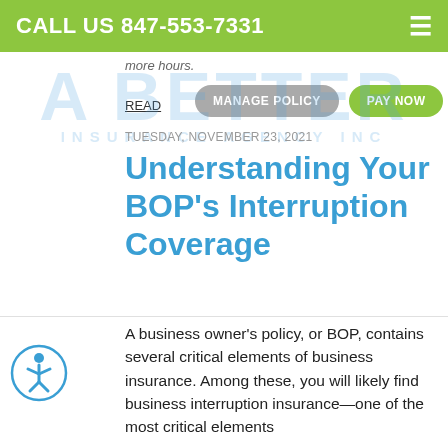CALL US 847-553-7331
more hours.
READ
MANAGE POLICY
PAY NOW
[Figure (logo): A Better Insurance Agency Inc logo with large blue text]
TUESDAY, NOVEMBER 23, 2021
Understanding Your BOP's Interruption Coverage
A business owner's policy, or BOP, contains several critical elements of business insurance. Among these, you will likely find business interruption insurance—one of the most critical elements